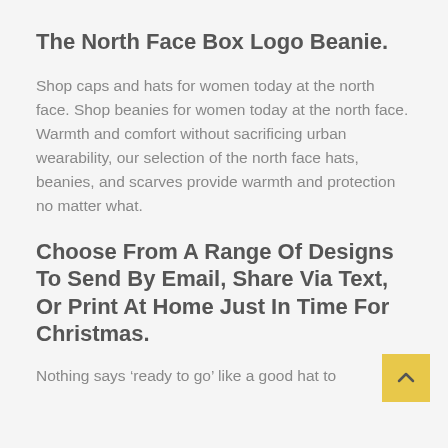The North Face Box Logo Beanie.
Shop caps and hats for women today at the north face. Shop beanies for women today at the north face. Warmth and comfort without sacrificing urban wearability, our selection of the north face hats, beanies, and scarves provide warmth and protection no matter what.
Choose From A Range Of Designs To Send By Email, Share Via Text, Or Print At Home Just In Time For Christmas.
Nothing says ‘ready to go’ like a good hat to